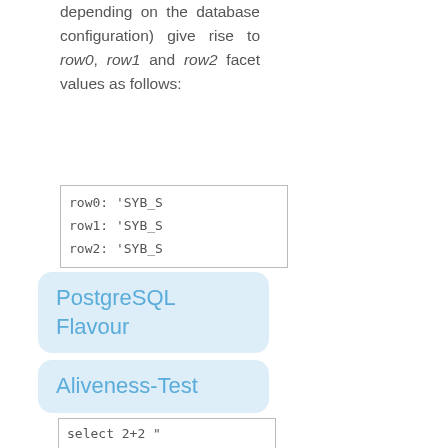depending on the database configuration) give rise to row0, row1 and row2 facet values as follows:
[Figure (screenshot): Code box showing row0: 'SYB_S, row1: 'SYB_S, row2: 'SYB_S]
PostgreSQL Flavour
Aliveness-Test
[Figure (screenshot): Code box showing: select 2+2 "]